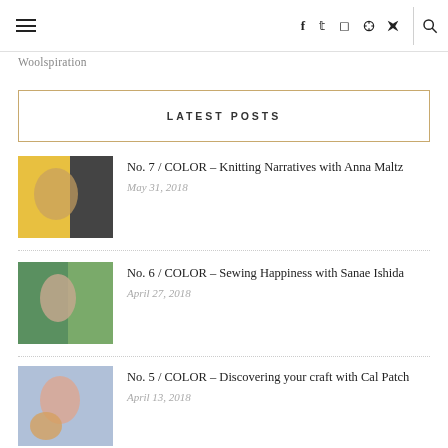Navigation bar with hamburger menu, social icons (f, twitter, instagram, pinterest, rss), search icon
Woolspiration
LATEST POSTS
No. 7 / COLOR – Knitting Narratives with Anna Maltz
May 31, 2018
No. 6 / COLOR – Sewing Happiness with Sanae Ishida
April 27, 2018
No. 5 / COLOR – Discovering your craft with Cal Patch
April 13, 2018